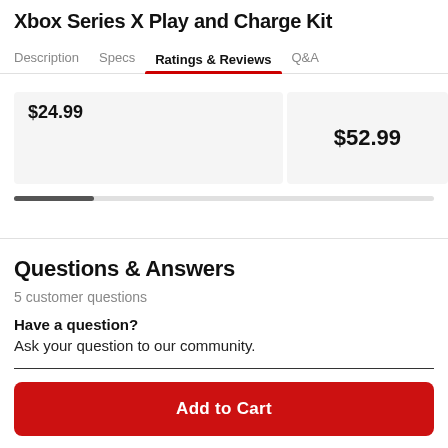Xbox Series X Play and Charge Kit
Description  Specs  Ratings & Reviews  Q&A
$24.99
$52.99
Questions & Answers
5 customer questions
Have a question?
Ask your question to our community.
Add to Cart